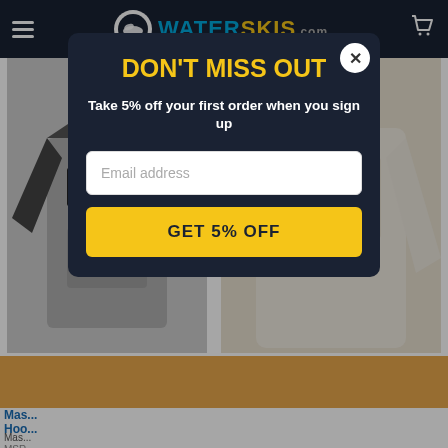WATERSKIS.com
[Figure (screenshot): Two product images: left shows a gray and black raglan sweatshirt with 'BOAT CO.' text label; right shows a cream/white long-sleeve sweatshirt with 'SURF SWIM BOAT COMPANY' text label.]
DON'T MISS OUT
Take 5% off your first order when you sign up
Email address
GET 5% OFF
Mas... Hoo...
Mas...
MSRP
$49...
C...